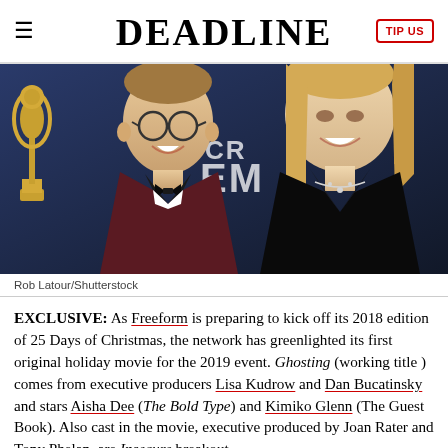DEADLINE | TIP US
[Figure (photo): Man in tuxedo with bow tie and glasses and woman in black jacket at Emmy Awards event, Emmy statue visible on left, CR EM text in background]
Rob Latour/Shutterstock
EXCLUSIVE: As Freeform is preparing to kick off its 2018 edition of 25 Days of Christmas, the network has greenlighted its first original holiday movie for the 2019 event. Ghosting (working title) comes from executive producers Lisa Kudrow and Dan Bucatinsky and stars Aisha Dee (The Bold Type) and Kimiko Glenn (The Guest Book). Also cast in the movie, executive produced by Joan Rater and Tony Phelan, are Insecure breakout